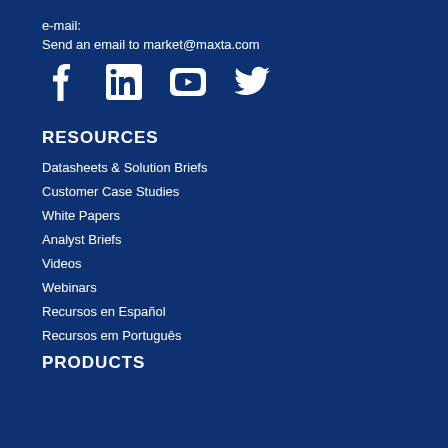e-mail:
Send an email to market@maxta.com
[Figure (illustration): Social media icons: Facebook, LinkedIn, YouTube, Twitter]
RESOURCES
Datasheets & Solution Briefs
Customer Case Studies
White Papers
Analyst Briefs
Videos
Webinars
Recursos en Español
Recursos em Português
PRODUCTS